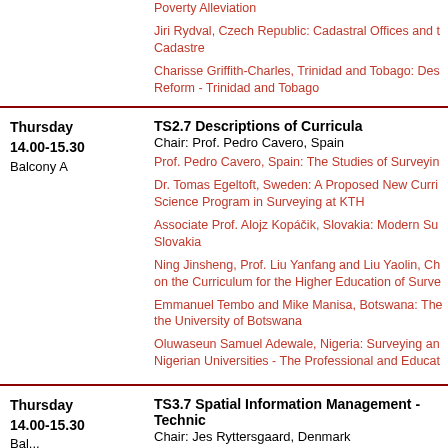Poverty Alleviation
Jiri Rydval, Czech Republic: Cadastral Offices and the Cadastre
Charisse Griffith-Charles, Trinidad and Tobago: Des... Reform - Trinidad and Tobago
| Thursday
14.00-15.30
Balcony A | TS2.7 Descriptions of Curricula
Chair: Prof. Pedro Cavero, Spain |
|  | Prof. Pedro Cavero, Spain: The Studies of Surveyin... |
|  | Dr. Tomas Egeltoft, Sweden: A Proposed New Curri... Science Program in Surveying at KTH |
|  | Associate Prof. Alojz Kopáčik, Slovakia: Modern Su... Slovakia |
|  | Ning Jinsheng, Prof. Liu Yanfang and Liu Yaolin, Ch... on the Curriculum for the Higher Education of Surve... |
|  | Emmanuel Tembo and Mike Manisa, Botswana: The... the University of Botswana |
|  | Oluwaseun Samuel Adewale, Nigeria: Surveying an... Nigerian Universities - The Professional and Educat... |
| Thursday
14.00-15.30
Bal... | TS3.7 Spatial Information Management - Technic...
Chair: Jes Ryttersgaard, Denmark |